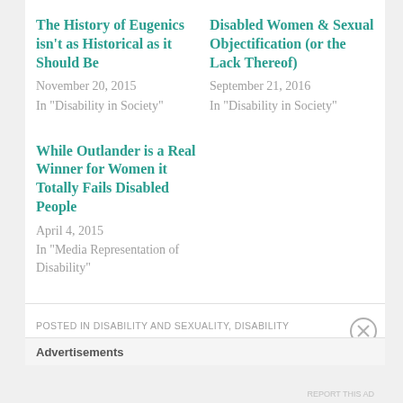The History of Eugenics isn't as Historical as it Should Be
November 20, 2015
In "Disability in Society"
Disabled Women & Sexual Objectification (or the Lack Thereof)
September 21, 2016
In "Disability in Society"
While Outlander is a Real Winner for Women it Totally Fails Disabled People
April 4, 2015
In "Media Representation of Disability"
POSTED IN DISABILITY AND SEXUALITY, DISABILITY
Advertisements